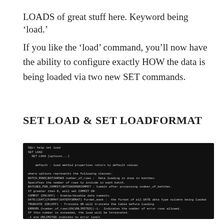LOADS of great stuff here. Keyword being ‘load.’
If you like the ‘load’ command, you’ll now have the ability to configure exactly HOW the data is being loaded via two new SET commands.
SET LOAD & SET LOADFORMAT
[Figure (screenshot): Terminal screenshot showing 'SQL> help set load' command output with SET LOAD documentation including options like BATCH_ROWS, BATCHROWS, COMMIT, DATE, TRUNCATE, ERRORS, LOCALE, NUMBER, TIMESTAMP, TIMESTAMP2 format options and examples like 'set load batch_rows 100 batches_per_commit 100']